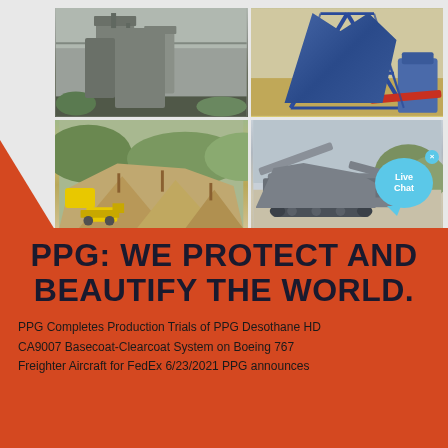[Figure (photo): Four-panel photo collage: top-left shows an industrial warehouse interior with large metal silos/hoppers; top-right shows a large blue industrial crane/mining structure in an open field; bottom-left shows an open-pit quarry or mining site with yellow bulldozers and aggregate piles; bottom-right shows a mobile crushing or screening plant with a 'Live Chat' bubble overlay. A red triangle decorative element overlaps the left side.]
PPG: WE PROTECT AND BEAUTIFY THE WORLD.
PPG Completes Production Trials of PPG Desothane HD CA9007 Basecoat-Clearcoat System on Boeing 767 Freighter Aircraft for FedEx 6/23/2021 PPG announces